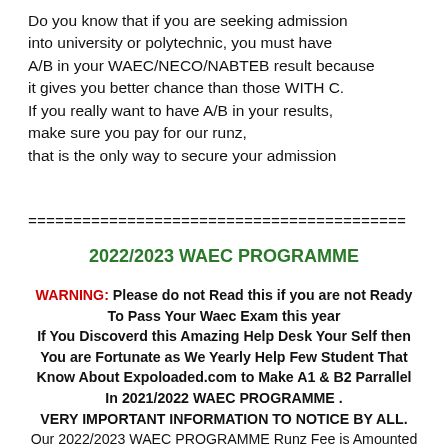Do you know that if you are seeking admission into university or polytechnic, you must have A/B in your WAEC/NECO/NABTEB result because it gives you better chance than those WITH C. If you really want to have A/B in your results, make sure you pay for our runz, that is the only way to secure your admission
==========================================
2022/2023 WAEC PROGRAMME
WARNING: Please do not Read this if you are not Ready To Pass Your Waec Exam this year If You Discoverd this Amazing Help Desk Your Self then You are Fortunate as We Yearly Help Few Student That Know About Expoloaded.com to Make A1 & B2 Parrallel In 2021/2022 WAEC PROGRAMME . VERY IMPORTANT INFORMATION TO NOTICE BY ALL. Our 2022/2023 WAEC PROGRAMME Runz Fee is Amounted N6,000(SIX Thousand Naira Only). For All Your 9 Subjects..